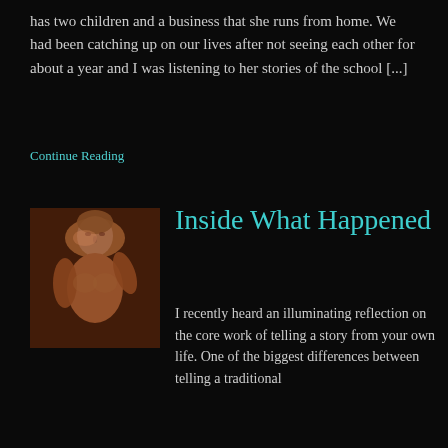has two children and a business that she runs from home. We had been catching up on our lives after not seeing each other for about a year and I was listening to her stories of the school [...]
Continue Reading
[Figure (photo): Photograph of Michelangelo's David statue, a muscular male figure, shown from the torso up with warm brownish-orange lighting against a dark background]
Inside What Happened
I recently heard an illuminating reflection on the core work of telling a story from your own life. One of the biggest differences between telling a traditional story and telling a true one from your own life is that when you tell a traditional story, a lot of time is spent imagining the landscape, the characters, [...]
Continue Reading